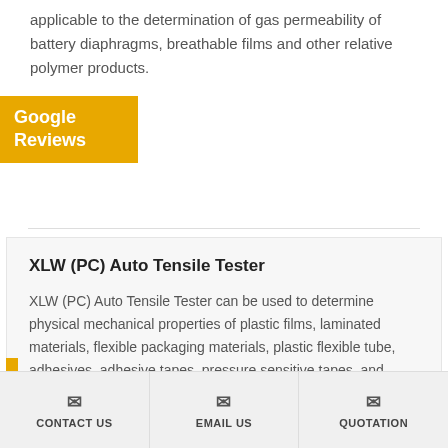applicable to the determination of gas permeability of battery diaphragms, breathable films and other relative polymer products.
[Figure (logo): Google Reviews badge in yellow/gold color]
XLW (PC) Auto Tensile Tester
XLW (PC) Auto Tensile Tester can be used to determine physical mechanical properties of plastic films, laminated materials, flexible packaging materials, plastic flexible tube, adhesives, adhesive tapes, pressure sensitive tapes, and adhesive bandage (plaster) etc.
CONTACT US | EMAIL US | QUOTATION